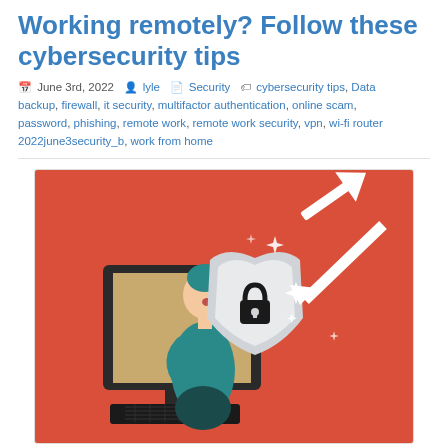Working remotely? Follow these cybersecurity tips
June 3rd, 2022  lyle  Security  cybersecurity tips, Data backup, firewall, it security, multifactor authentication, online scam, password, phishing, remote work, remote work security, vpn, wi-fi router 2022june3security_b, work from home
[Figure (illustration): Illustration of a woman emerging from a computer monitor, holding up a security shield with a padlock icon, deflecting arrows on a red background. Below the monitor is a dark keyboard base.]